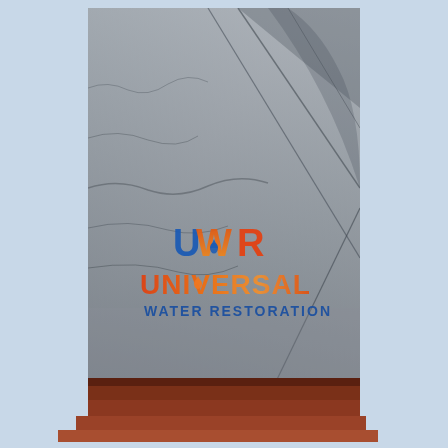[Figure (photo): Photograph of a silver/gray plastic sheeting or tarpaulin with wrinkles and creases, covering what appears to be a roof or surface. The Universal Water Restoration (UWR) company logo is overlaid in the lower center of the image. The logo has blue and orange gradient lettering spelling 'UNIVERSAL' in large text, 'WATER RESTORATION' below in blue, and a stylized 'UWR' emblem above with blue and orange colors including a water droplet.]